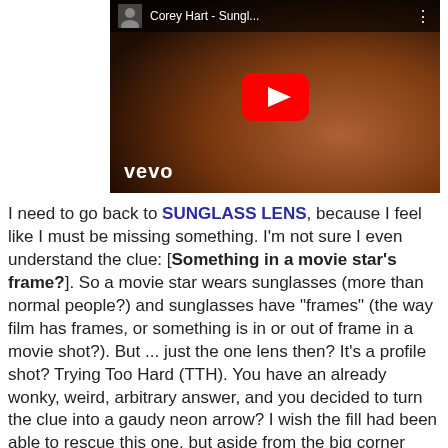[Figure (screenshot): YouTube video thumbnail showing Corey Hart - Sungl... with vevo branding, a play button, and a dark face with sunglasses]
I need to go back to SUNGLASS LENS, because I feel like I must be missing something. I'm not sure I even understand the clue: [Something in a movie star's frame?]. So a movie star wears sunglasses (more than normal people?) and sunglasses have "frames" (the way film has frames, or something is in or out of frame in a movie shot?). But ... just the one lens then? It's a profile shot? Trying Too Hard (TTH). You have an already wonky, weird, arbitrary answer, and you decided to turn the clue into a gaudy neon arrow? I wish the fill had been able to rescue this one, but aside from the big corner answers (which I like) this one's just a bit too OCTO-EKES. Too CLUES. Too AESOPS POMS. Etc. I need a